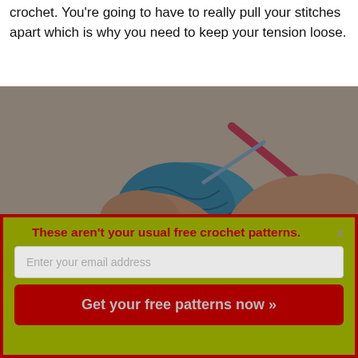crochet. You're going to have to really pull your stitches apart which is why you need to keep your tension loose.
[Figure (photo): Hands crocheting with a pink/red crochet hook and blue yarn, creating a knitted/crocheted piece. The background is light gray/beige. The image has a dark overlay.]
These aren't your usual free crochet patterns.
Enter your email address
Get your free patterns now »